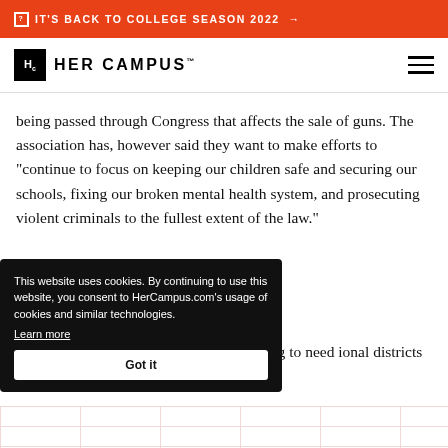IT'S BACK TO COLLEGE SEASON 2022 →
[Figure (logo): Her Campus logo with Hc box and text HER CAMPUS]
being passed through Congress that affects the sale of guns. The association has, however said they want to make efforts to "continue to focus on keeping our children safe and securing our schools, fixing our broken mental health system, and prosecuting violent criminals to the fullest extent of the law."
to the nation that he needs e. "We are going to need ional districts where the
This website uses cookies. By continuing to use this website, you consent to HerCampus.com's usage of cookies and similar technologies. Learn more Got it